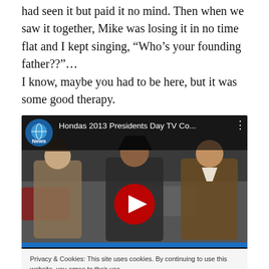had seen it but paid it no mind. Then when we saw it together, Mike was losing it in no time flat and I kept singing, “Who’s your founding father??”…
I know, maybe you had to be here, but it was some good therapy.
[Figure (screenshot): YouTube video embed thumbnail showing 'Hondas 2013 Presidents Day TV Co...' with three men dressed in colonial-era costumes playing instruments in a car dealership parking lot. A red YouTube play button is centered on the thumbnail.]
Privacy & Cookies: This site uses cookies. By continuing to use this website, you agree to their use.
To find out more, including how to control cookies, see here: Cookie Policy